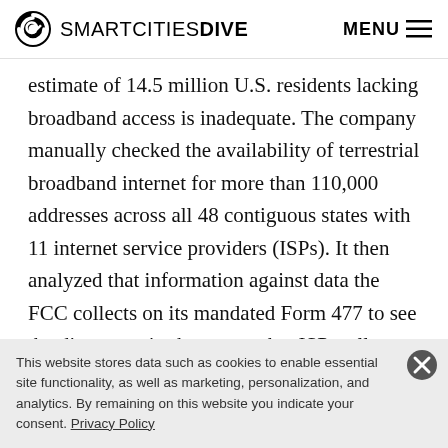SMARTCITIES DIVE  MENU
estimate of 14.5 million U.S. residents lacking broadband access is inadequate. The company manually checked the availability of terrestrial broadband internet for more than 110,000 addresses across all 48 contiguous states with 11 internet service providers (ISPs). It then analyzed that information against data the FCC collects on its mandated Form 477 to see the discrepancies between what ISPs tell customers and the government.
This website stores data such as cookies to enable essential site functionality, as well as marketing, personalization, and analytics. By remaining on this website you indicate your consent. Privacy Policy